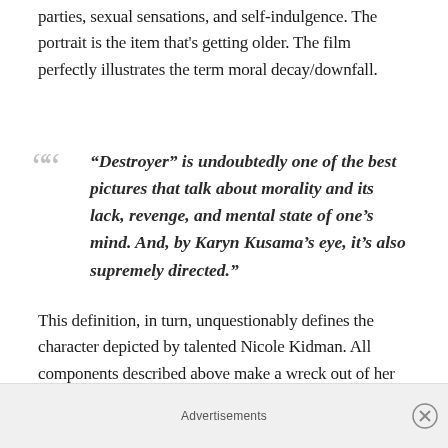parties, sexual sensations, and self-indulgence. The portrait is the item that's getting older. The film perfectly illustrates the term moral decay/downfall.
“Destroyer” is undoubtedly one of the best pictures that talk about morality and its lack, revenge, and mental state of one’s mind. And, by Karyn Kusama’s eye, it’s also supremely directed.”
This definition, in turn, unquestionably defines the character depicted by talented Nicole Kidman. All components described above make a wreck out of her humanity, but not only. Her outer persona changes almost unrecognizably. From an attractive woman, Erin turns into drinking, crumpled woman who appears a lot
Advertisements